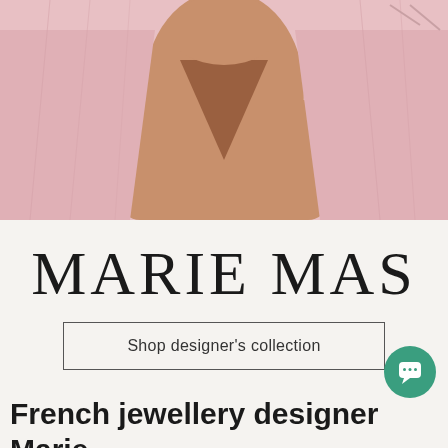[Figure (photo): Close-up photo of a person wearing a pink/rose garment, showing neck and décolletage area, with a subtle jewellery-related context]
MARIE MAS
Shop designer's collection
French jewellery designer Marie